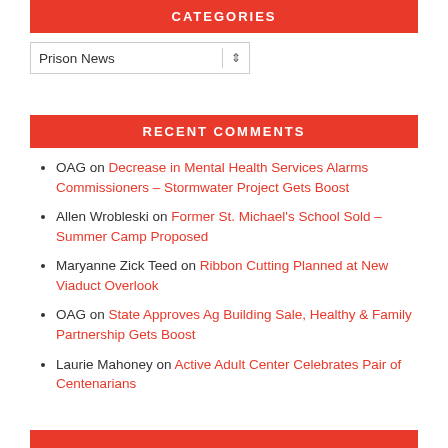CATEGORIES
Prison News
RECENT COMMENTS
OAG on Decrease in Mental Health Services Alarms Commissioners – Stormwater Project Gets Boost
Allen Wrobleski on Former St. Michael's School Sold – Summer Camp Proposed
Maryanne Zick Teed on Ribbon Cutting Planned at New Viaduct Overlook
OAG on State Approves Ag Building Sale, Healthy & Family Partnership Gets Boost
Laurie Mahoney on Active Adult Center Celebrates Pair of Centenarians